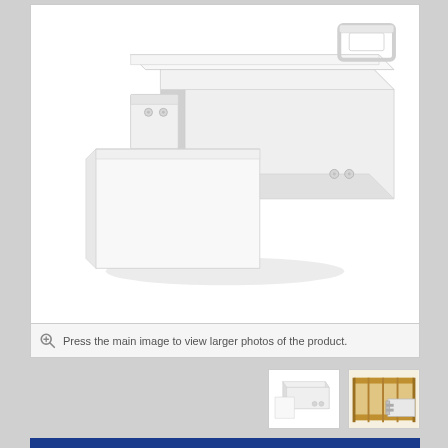[Figure (photo): White medical overbed/bedside table tray with slide-out extension panel, screw fittings, and side handle bracket. Shown from a 3D perspective angle on white background.]
Press the main image to view larger photos of the product.
[Figure (photo): Thumbnail: white bedside tray/table viewed from slightly above, showing the slide-out extension.]
[Figure (photo): Thumbnail: wooden bed with metal frame showing the tray attached to the bedside rail.]